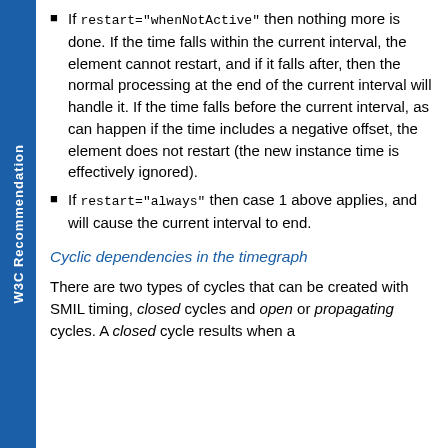If restart="whenNotActive" then nothing more is done. If the time falls within the current interval, the element cannot restart, and if it falls after, then the normal processing at the end of the current interval will handle it. If the time falls before the current interval, as can happen if the time includes a negative offset, the element does not restart (the new instance time is effectively ignored).
If restart="always" then case 1 above applies, and will cause the current interval to end.
Cyclic dependencies in the timegraph
There are two types of cycles that can be created with SMIL timing, closed cycles and open or propagating cycles. A closed cycle results when a